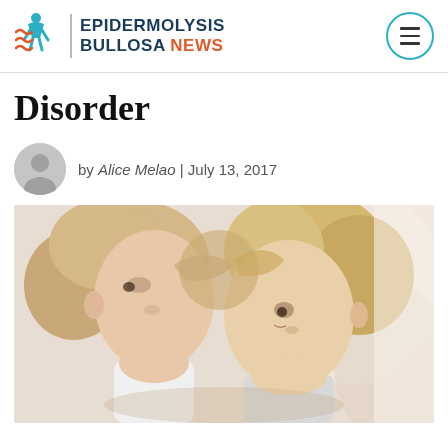EPIDERMOLYSIS BULLOSA NEWS
Disorder
by Alice Melao | July 13, 2017
[Figure (photo): A mother and young child leaning their foreheads together in an emotional, tender moment. Both have blonde hair. The child appears sad or distressed.]